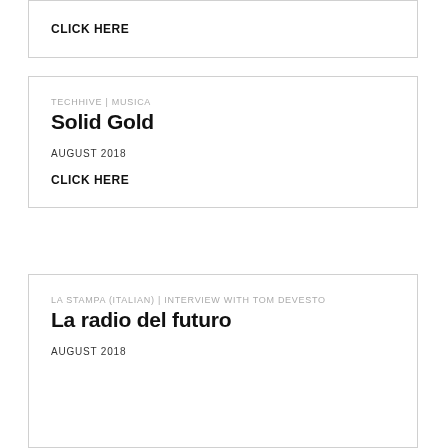CLICK HERE
TECHHIVE | MUSICA
Solid Gold
AUGUST 2018
CLICK HERE
LA STAMPA (ITALIAN) | INTERVIEW WITH TOM DEVESTO
La radio del futuro
AUGUST 2018